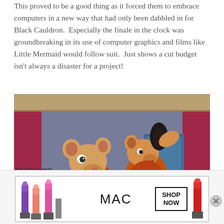This proved to be a good thing as it forced them to embrace computers in a new way that had only been dabbled in for Black Cauldron. Especially the finale in the clock was groundbreaking in its use of computer graphics and films like Little Mermaid would follow suit. Just shows a cut budget isn't always a disaster for a project!
[Figure (illustration): Animated cartoon illustration showing two mouse/rat characters from what appears to be a Disney animated film. One smaller character in a bow tie looks up at a taller character in formal attire. Background shows red curtains and a blue object.]
Advertisements
[Figure (photo): MAC Cosmetics advertisement showing colorful lipsticks on the left, MAC brand logo in the center, a SHOP NOW button, and a red lipstick on the right.]